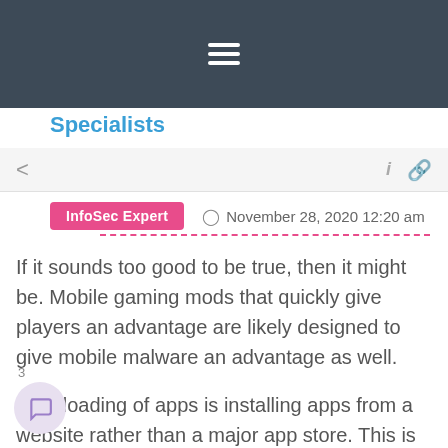≡ (hamburger menu)
Specialists
InfoSec Expert   November 28, 2020 12:20 am
If it sounds too good to be true, then it might be. Mobile gaming mods that quickly give players an advantage are likely designed to give mobile malware an advantage as well.
Side-loading of apps is installing apps from a website rather than a major app store. This is almost going mainstream in gaming, such as with Fortnite on Android. Unless it is specifically required by a major app developer, it\'s advisable to avoid sideloaded apps. Public app stores like Google Play and